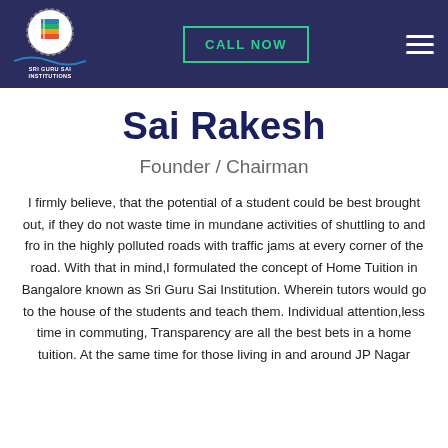[Figure (logo): Sri Guru Sai Institutions logo — circular badge with colorful book icon and text 'SRI GURU SAI INSTITUTIONS' below]
CALL NOW
Sai Rakesh
Founder / Chairman
I firmly believe, that the potential of a student could be best brought out, if they do not waste time in mundane activities of shuttling to and fro in the highly polluted roads with traffic jams at every corner of the road. With that in mind,I formulated the concept of Home Tuition in Bangalore known as Sri Guru Sai Institution. Wherein tutors would go to the house of the students and teach them. Individual attention,less time in commuting, Transparency are all the best bets in a home tuition. At the same time for those living in and around JP Nagar